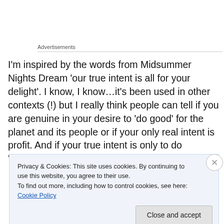Advertisements
I'm inspired by the words from Midsummer Nights Dream 'our true intent is all for your delight'.  I know, I know…it's been used in other contexts (!) but I really think people can tell if you are genuine in your desire to 'do good' for the planet and its people or if your only real intent is profit.  And if your true intent is only to do 'business as usual'
Privacy & Cookies: This site uses cookies. By continuing to use this website, you agree to their use.
To find out more, including how to control cookies, see here: Cookie Policy
Close and accept